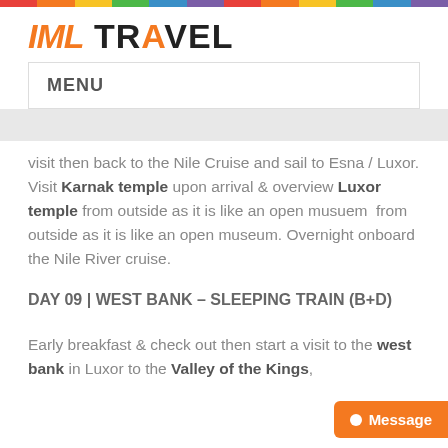[Figure (logo): IML TRAVEL logo with orange IML in italic bold and black TRAVEL text]
MENU
visit then back to the Nile Cruise and sail to Esna / Luxor. Visit Karnak temple upon arrival & overview Luxor temple from outside as it is like an open musuem  from outside as it is like an open museum. Overnight onboard the Nile River cruise.
DAY 09 | WEST BANK – SLEEPING TRAIN (B+D)
Early breakfast & check out then start a visit to the west bank in Luxor to the Valley of the Kings,